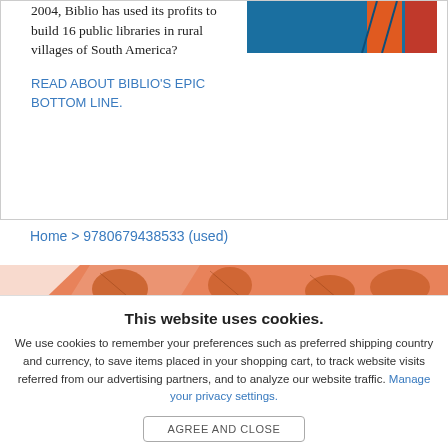2004, Biblio has used its profits to build 16 public libraries in rural villages of South America?
READ ABOUT BIBLIO'S EPIC BOTTOM LINE.
[Figure (illustration): Colorful book cover or decorative image with blue and orange/red tones on the right side of the top section]
Home > 9780679438533 (used)
[Figure (illustration): Decorative orange and white patterned banner strip with abstract bird/floral motifs]
This website uses cookies.
We use cookies to remember your preferences such as preferred shipping country and currency, to save items placed in your shopping cart, to track website visits referred from our advertising partners, and to analyze our website traffic. Manage your privacy settings.
AGREE AND CLOSE